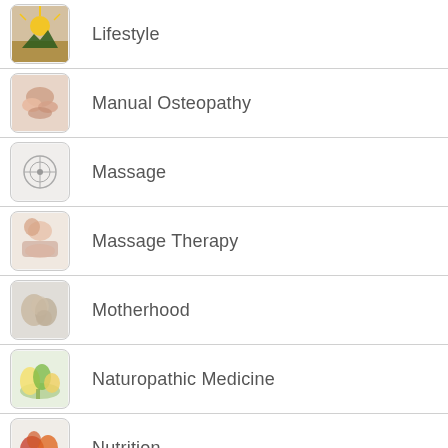Lifestyle
Manual Osteopathy
Massage
Massage Therapy
Motherhood
Naturopathic Medicine
Nutrition
Occupational Therapy